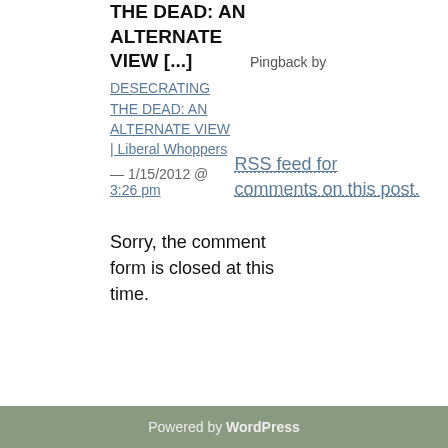THE DEAD: AN ALTERNATE VIEW [...]
Pingback by
DESECRATING THE DEAD: AN ALTERNATE VIEW | Liberal Whoppers — 1/15/2012 @ 3:26 pm
RSS feed for comments on this post.
Sorry, the comment form is closed at this time.
Powered by WordPress